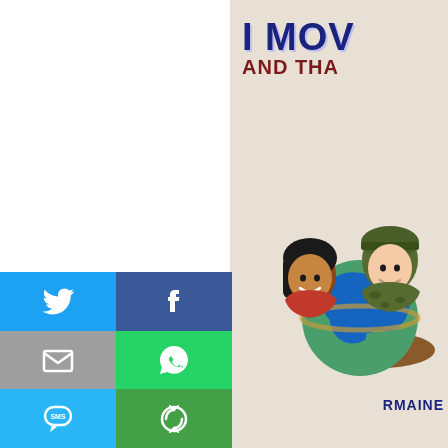[Figure (illustration): Partial book cover showing title 'I MOV...' and 'AND THA...' in bold blue and dark red text, with cartoon illustration of a girl and a soldier in camouflage holding a globe, author name 'RMAINE' partially visible at bottom]
[Figure (infographic): Social sharing button grid with 6 buttons: Twitter (blue bird icon), Facebook (blue f icon), Email (grey envelope icon), WhatsApp (green phone icon), SMS (light blue SMS bubble icon), Other/share (green circular arrows icon)]